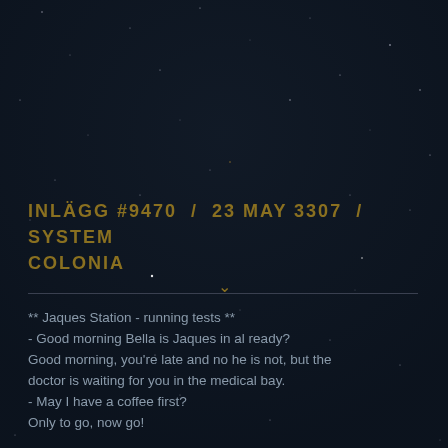[Figure (illustration): Dark space/starfield background with scattered white dots representing stars on a dark navy background]
INLÄGG #9470  /  23 MAY 3307  /  SYSTEM COLONIA
** Jaques Station - running tests **
- Good morning Bella is Jaques in al ready?
Good morning, you're late and no he is not, but the doctor is waiting for you in the medical bay.
- May I have a coffee first?
Only to go, now go!

Hello CMDR Erik, you seem to have lost a piece of your history am I correct?
- Yeah I had this accident and now a kinda lost it all